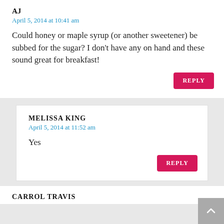AJ
April 5, 2014 at 10:41 am
Could honey or maple syrup (or another sweetener) be subbed for the sugar? I don't have any on hand and these sound great for breakfast!
REPLY
MELISSA KING
April 5, 2014 at 11:52 am
Yes
REPLY
CARROL TRAVIS